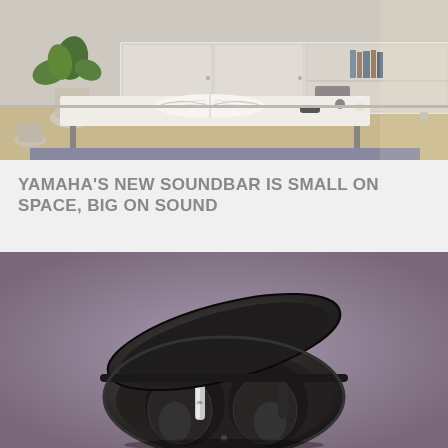[Figure (photo): Interior room scene with a low white coffee table, open books on top, a sideboard/credenza in the background with shelves containing folded items and books, a potted plant on the left, and warm natural lighting. A small remote control is visible on the table.]
YAMAHA'S NEW SOUNDBAR IS SMALL ON SPACE, BIG ON SOUND
[Figure (photo): Overhead/top-down view of a pair of dark black wireless earbuds in an open charging case on a gray background. One earbud has a silver accent stem visible. The case lid is open revealing both earbuds seated in their compartments.]